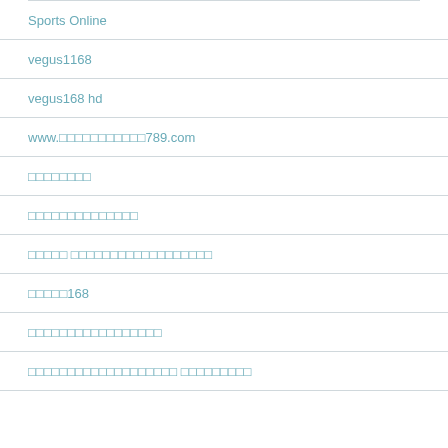Sports Online
vegus1168
vegus168 hd
www.□□□□□□□□□□□789.com
□□□□□□□□
□□□□□□□□□□□□□□
□□□□□ □□□□□□□□□□□□□□□□□□
□□□□□168
□□□□□□□□□□□□□□□□□
□□□□□□□□□□□□□□□□□□□ □□□□□□□□□